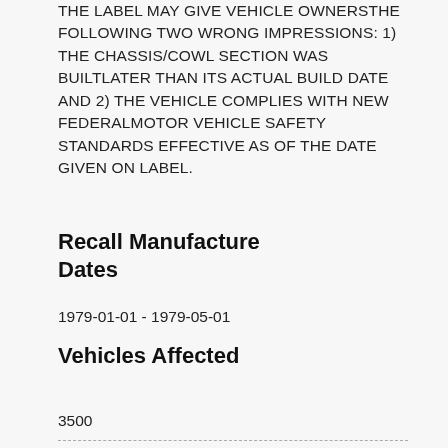THE LABEL MAY GIVE VEHICLE OWNERS THE FOLLOWING TWO WRONG IMPRESSIONS: 1) THE CHASSIS/COWL SECTION WAS BUILT LATER THAN ITS ACTUAL BUILD DATE AND 2) THE VEHICLE COMPLIES WITH NEW FEDERAL MOTOR VEHICLE SAFETY STANDARDS EFFECTIVE AS OF THE DATE GIVEN ON LABEL.
Recall Manufacture Dates
1979-01-01 - 1979-05-01
Vehicles Affected
3500